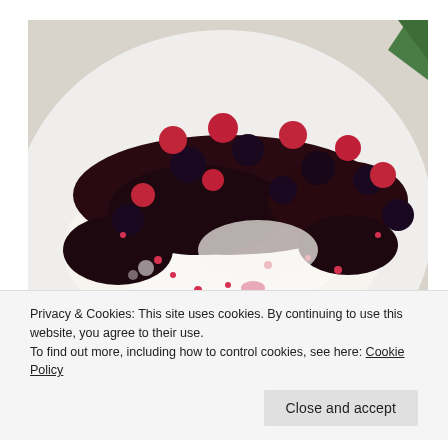[Figure (photo): Close-up photograph of a pavlova dessert topped with blackberries, raspberries, pomegranate seeds, and dark berry coulis on a white plate, with a green leaf visible in the upper right corner.]
Privacy & Cookies: This site uses cookies. By continuing to use this website, you agree to their use.
To find out more, including how to control cookies, see here: Cookie Policy
Close and accept